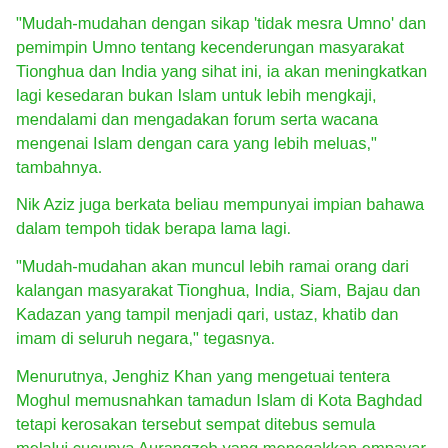"Mudah-mudahan dengan sikap 'tidak mesra Umno' dan pemimpin Umno tentang kecenderungan masyarakat Tionghua dan India yang sihat ini, ia akan meningkatkan lagi kesedaran bukan Islam untuk lebih mengkaji, mendalami dan mengadakan forum serta wacana mengenai Islam dengan cara yang lebih meluas," tambahnya.
Nik Aziz juga berkata beliau mempunyai impian bahawa dalam tempoh tidak berapa lama lagi.
"Mudah-mudahan akan muncul lebih ramai orang dari kalangan masyarakat Tionghua, India, Siam, Bajau dan Kadazan yang tampil menjadi qari, ustaz, khatib dan imam di seluruh negara," tegasnya.
Menurutnya, Jenghiz Khan yang mengetuai tentera Moghul memusnahkan tamadun Islam di Kota Baghdad tetapi kerosakan tersebut sempat ditebus semula melalui cucunya Aurangzeb yang menegakkan empayar Islam di India kemudiannya.